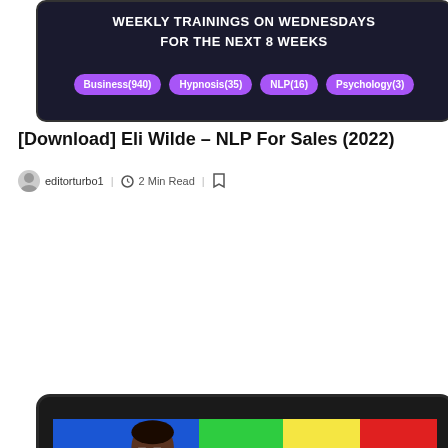[Figure (screenshot): Tablet showing course card with text 'WEEKLY TRAININGS ON WEDNESDAYS FOR THE NEXT 8 WEEKS' on dark background, with purple category tags: Business(940), Hypnosis(35), NLP(16), Psychology(3)]
[Download] Eli Wilde – NLP For Sales (2022)
editorturbo1 | 2 Min Read |
[Figure (screenshot): Tablet device showing a person in a plaid blazer against colorful background (blue, green, yellow, red), with Google Ads logo on right. Bottom shows purple tags: Business(940), Google ads(30). Orange flame icon on left, white dot on right. Scroll-up button in bottom right corner.]